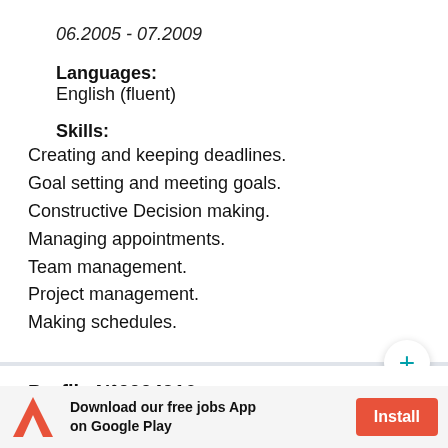06.2005 - 07.2009
Languages:
English (fluent)
Skills:
Creating and keeping deadlines.
Goal setting and meeting goals.
Constructive Decision making.
Managing appointments.
Team management.
Project management.
Making schedules.
Profile N°0004916
Download our free jobs App on Google Play  Install